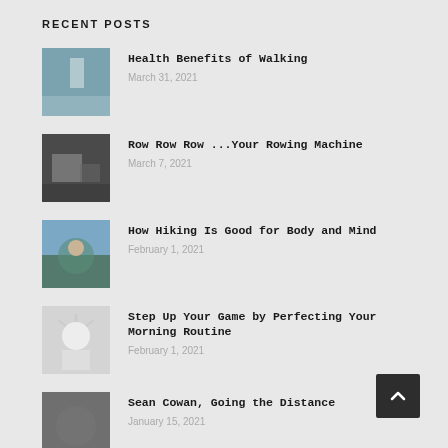RECENT POSTS
Health Benefits of Walking — March 31, 2021
Row Row Row ...Your Rowing Machine — March 7, 2021
How Hiking Is Good for Body and Mind — February 1, 2021
Step Up Your Game by Perfecting Your Morning Routine — February 1, 2021
Sean Cowan, Going the Distance — January 15, 2021